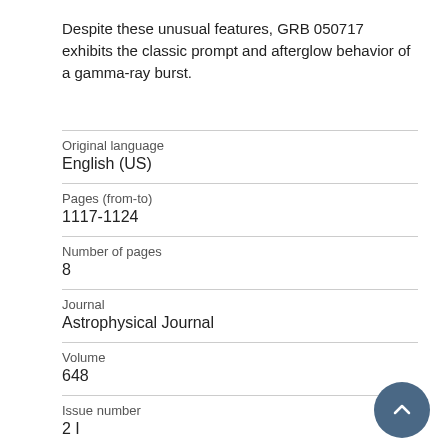Despite these unusual features, GRB 050717 exhibits the classic prompt and afterglow behavior of a gamma-ray burst.
| Original language | English (US) |
| Pages (from-to) | 1117-1124 |
| Number of pages | 8 |
| Journal | Astrophysical Journal |
| Volume | 648 |
| Issue number | 2 I |
| State |  |